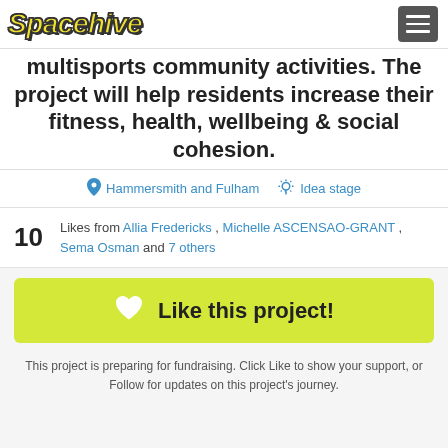Spacehive
multisports community activities. The project will help residents increase their fitness, health, wellbeing & social cohesion.
Hammersmith and Fulham   Idea stage
10  Likes from Allia Fredericks , Michelle ASCENSAO-GRANT , Sema Osman and 7 others
Like this project!
This project is preparing for fundraising. Click Like to show your support, or Follow for updates on this project's journey.